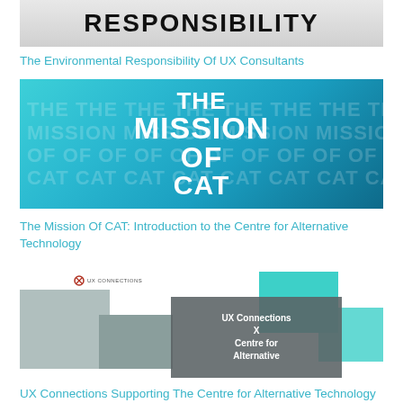[Figure (illustration): Partial image showing 'RESPONSIBILITY' text in large bold uppercase letters on a light grey background, cropped at top]
The Environmental Responsibility Of UX Consultants
[Figure (illustration): Teal/cyan gradient banner with 'THE MISSION OF CAT' in large bold white text centered, with repeated faded background text of the same words]
The Mission Of CAT: Introduction to the Centre for Alternative Technology
[Figure (illustration): UX Connections branding image with grey and teal geometric blocks, UX Connections logo top left, and dark overlay box reading 'UX Connections X Centre for Alternative']
UX Connections Supporting The Centre for Alternative Technology